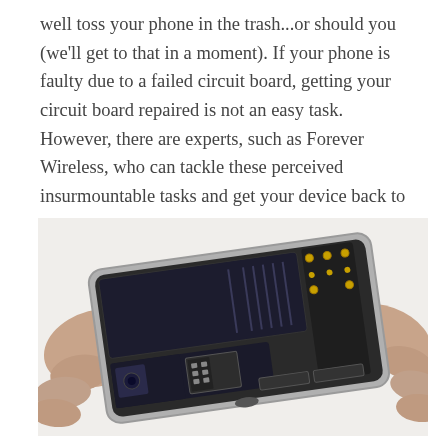well toss your phone in the trash...or should you (we'll get to that in a moment). If your phone is faulty due to a failed circuit board, getting your circuit board repaired is not an easy task. However, there are experts, such as Forever Wireless, who can tackle these perceived insurmountable tasks and get your device back to working order in no time.
[Figure (photo): Hands holding an opened smartphone showing the internal circuit board and battery of an iPhone, with components visible including SIM card slot, chips, and various connectors.]